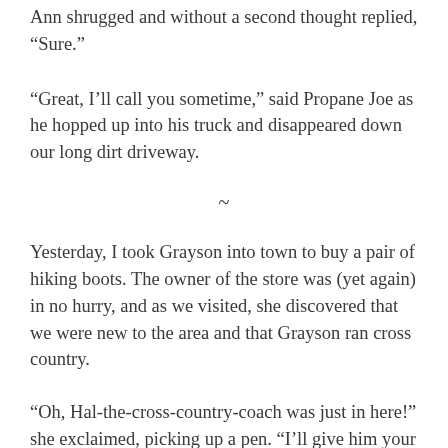Ann shrugged and without a second thought replied, “Sure.”
“Great, I’ll call you sometime,” said Propane Joe as he hopped up into his truck and disappeared down our long dirt driveway.
~
Yesterday, I took Grayson into town to buy a pair of hiking boots. The owner of the store was (yet again) in no hurry, and as we visited, she discovered that we were new to the area and that Grayson ran cross country.
“Oh, Hal-the-cross-country-coach was just in here!” she exclaimed, picking up a pen. “I’ll give him your phone number and tell him to call you. Maybe you can get